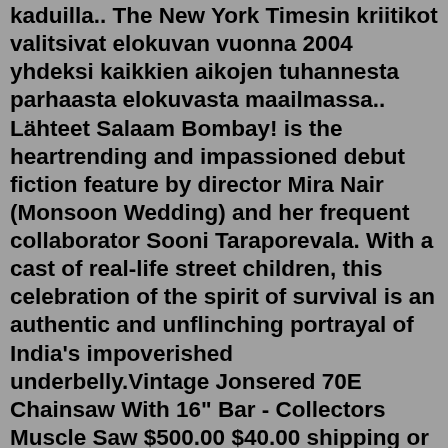kaduilla.. The New York Timesin kriitikot valitsivat elokuvan vuonna 2004 yhdeksi kaikkien aikojen tuhannesta parhaasta elokuvasta maailmassa.. Lähteet Salaam Bombay! is the heartrending and impassioned debut fiction feature by director Mira Nair (Monsoon Wedding) and her frequent collaborator Sooni Taraporevala. With a cast of real-life street children, this celebration of the spirit of survival is an authentic and unflinching portrayal of India's impoverished underbelly.Vintage Jonsered 70E Chainsaw With 16" Bar - Collectors Muscle Saw $500.00 $40.00 shipping or Best Offer Jonsereds 49SP Semi Pro Chainsaw 16"Bar /Chain Good Working Condition FREE SHIP $285.00 Free shipping or Best Offer Jonsered 920 Chainsaw $710.00 $65.00 shipping or Best Offer. . Salaam Bombay! subtitles English. AKA: Salaam Bombay. Before Slumdog Millionaire came Salaam Bombay!, Mira Nair's Oscar-nominated drama tells the moving story of life on the streets of Bombay as seen through the eyes of Chaipu, a twelve-